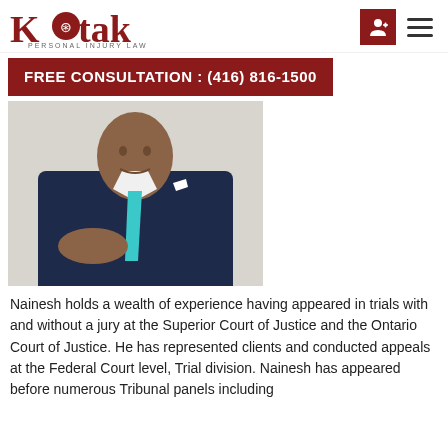[Figure (logo): Kotak Personal Injury Law logo with stylized K and scales of justice icon]
FREE CONSULTATION : (416) 816-1500
[Figure (photo): Professional photo of Nainesh Kotak in a dark navy suit with teal tie, arms crossed]
Nainesh holds a wealth of experience having appeared in trials with and without a jury at the Superior Court of Justice and the Ontario Court of Justice. He has represented clients and conducted appeals at the Federal Court level, Trial division. Nainesh has appeared before numerous Tribunal panels including